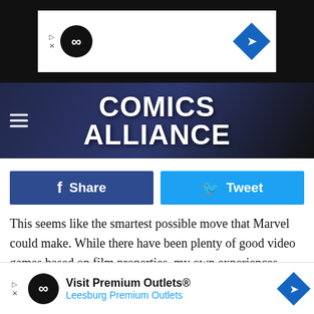[Figure (screenshot): Top advertisement banner with infinity loop logo and navigation arrow diamond icon on dark background]
COMICS ALLIANCE
[Figure (screenshot): Facebook Share and Twitter Tweet social sharing buttons]
This seems like the smartest possible move that Marvel could make. While there have been plenty of good video games based on film properties, my own experiences have taught me that the ones least connected to movie events — such as Vin Diesel's powerhouse The Chronicles of Riddick: Escape from Butcher Bay — often provide the most bang for their buck. While I do want to explore the worlds of these characters, I'd rather do it my way, and being forced to recreate events from the movies is less fun than having a superh
[Figure (screenshot): Bottom advertisement overlay: Visit Premium Outlets® Leesburg Premium Outlets with infinity logo and arrow diamond]